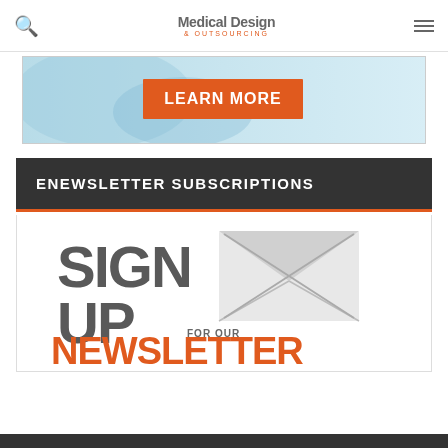Medical Design & Outsourcing
[Figure (illustration): Advertisement banner with light blue background and orange LEARN MORE button]
ENEWSLETTER SUBSCRIPTIONS
[Figure (illustration): Sign up for our newsletter graphic with large bold text SIGN UP and orange NEWSLETTER text alongside envelope imagery]
[Figure (illustration): Dark bar at bottom of page]